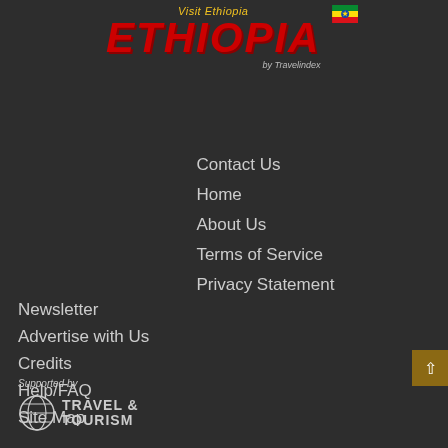[Figure (logo): Visit Ethiopia logo with flag and Travelindex branding]
Contact Us
Home
About Us
Terms of Service
Privacy Statement
Newsletter
Advertise with Us
Credits
Help/FAQ
Site Map
Supported by
[Figure (logo): Travel & Tourism logo with globe icon]